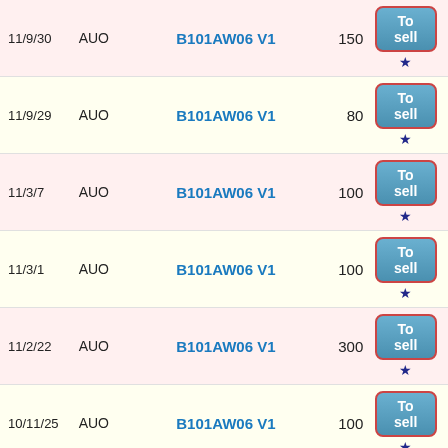| Date | Brand | Model | Qty | Action |
| --- | --- | --- | --- | --- |
| 11/9/30 | AUO | B101AW06 V1 | 150 | To sell |
| 11/9/29 | AUO | B101AW06 V1 | 80 | To sell |
| 11/3/7 | AUO | B101AW06 V1 | 100 | To sell |
| 11/3/1 | AUO | B101AW06 V1 | 100 | To sell |
| 11/2/22 | AUO | B101AW06 V1 | 300 | To sell |
| 10/11/25 | AUO | B101AW06 V1 | 100 | To sell |
now .
TEL: +886-2-22219189  FAX: +886-2-22218600
E-mail: lattehsieh@eechain.com
Address: 6F., No.105 , Lide St., Jhonghe District, New Taipei City 235, Taiwan
Copyright,1999-2022,EEChain Optronics Corp ,All rights reserved.